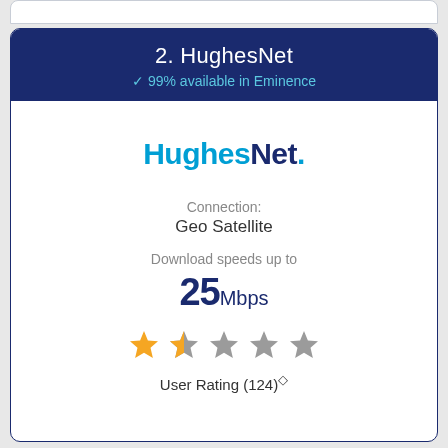2. HughesNet
✓ 99% available in Eminence
[Figure (logo): HughesNet logo with Hughes in cyan/blue bold and Net in dark navy, followed by a dot]
Connection: Geo Satellite
Download speeds up to 25Mbps
[Figure (other): Star rating: 1.5 out of 5 stars (first star full orange, second star half orange/grey, remaining 3 stars grey)]
User Rating (124)◇